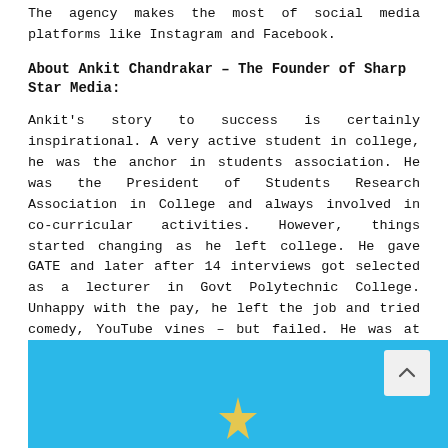The agency makes the most of social media platforms like Instagram and Facebook.
About Ankit Chandrakar – The Founder of Sharp Star Media:
Ankit's story to success is certainly inspirational. A very active student in college, he was the anchor in students association. He was the President of Students Research Association in College and always involved in co-curricular activities. However, things started changing as he left college. He gave GATE and later after 14 interviews got selected as a lecturer in Govt Polytechnic College. Unhappy with the pay, he left the job and tried comedy, YouTube vines – but failed. He was at one time selling pakoda and often laughed at by friends. He even sold popcorns and worked as a real estate agent.
[Figure (illustration): Blue background image with a star/logo graphic and a scroll-to-top arrow button on the right side]